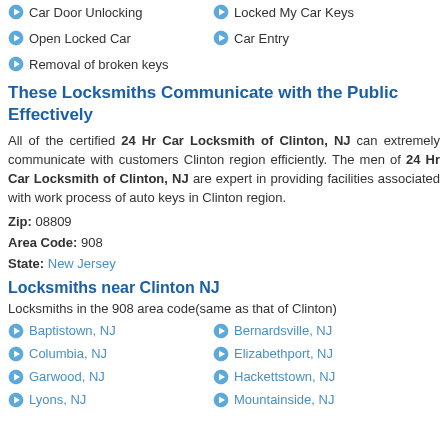Car Door Unlocking
Locked My Car Keys
Open Locked Car
Car Entry
Removal of broken keys
These Locksmiths Communicate with the Public Effectively
All of the certified 24 Hr Car Locksmith of Clinton, NJ can extremely communicate with customers Clinton region efficiently. The men of 24 Hr Car Locksmith of Clinton, NJ are expert in providing facilities associated with work process of auto keys in Clinton region.
Zip: 08809
Area Code: 908
State: New Jersey
Locksmiths near Clinton NJ
Locksmiths in the 908 area code(same as that of Clinton)
Baptistown, NJ
Bernardsville, NJ
Columbia, NJ
Elizabethport, NJ
Garwood, NJ
Hackettstown, NJ
Lyons, NJ
Mountainside, NJ